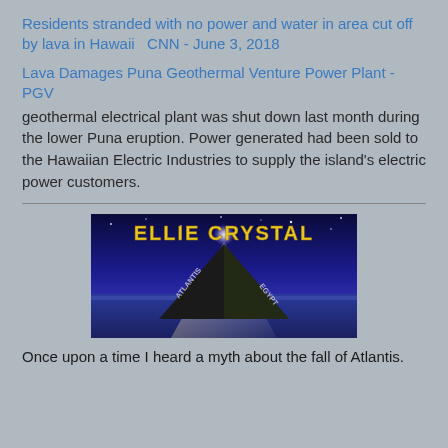Residents stranded with no power and water in area cut off by lava in Hawaii   CNN - June 3, 2018
Lava Damages Puna Geothermal Venture Power Plant - PGV geothermal electrical plant was shut down last month during the lower Puna eruption. Power generated had been sold to the Hawaiian Electric Industries to supply the island's electric power customers.
[Figure (logo): Ellie Crystal website logo: a dark pyramid with a beam of light, text 'ELLIE CRYSTAL' in gold letters, 'ATLANTIS' and 'EGYPT' on the sides, purple night-sky background]
Once upon a time I heard a myth about the fall of Atlantis.